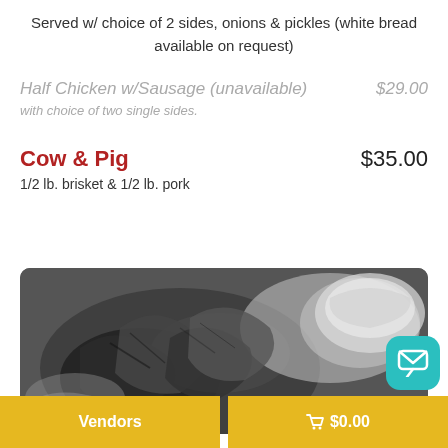Served w/ choice of 2 sides, onions & pickles (white bread available on request)
Half Chicken w/Sausage (unavailable)   $29.00
with choice of two single sides.
Cow & Pig   $35.00
1/2 lb. brisket & 1/2 lb. pork
[Figure (photo): Black and white photo of BBQ meat being served]
Vendors   🛒 $0.00